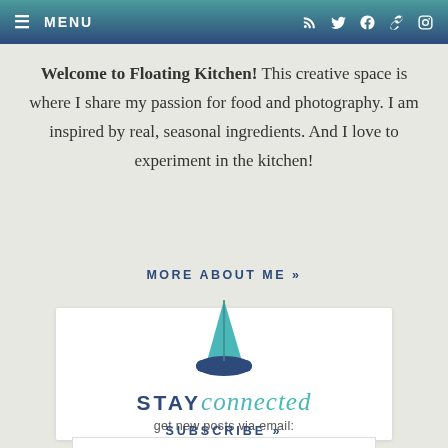MENU [navigation icons: RSS, Twitter, Facebook, Pinterest, Instagram]
Welcome to Floating Kitchen! This creative space is where I share my passion for food and photography. I am inspired by real, seasonal ingredients. And I love to experiment in the kitchen!
MORE ABOUT ME »
[Figure (logo): Sailboat logo — teal sail and dark navy hull]
STAY connected
get new posts via email:
enter email address
SUBSCRIBE »